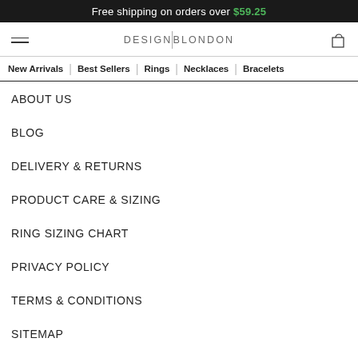Free shipping on orders over $59.25
[Figure (logo): DESIGNBLONDON logo with vertical separator line and hamburger menu icon and shopping bag cart icon]
New Arrivals | Best Sellers | Rings | Necklaces | Bracelets
ABOUT US
BLOG
DELIVERY & RETURNS
PRODUCT CARE & SIZING
RING SIZING CHART
PRIVACY POLICY
TERMS & CONDITIONS
SITEMAP
Socials